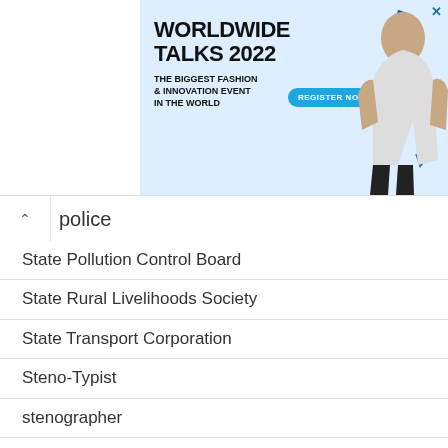[Figure (illustration): Advertisement banner for 'Worldwide Talks 2022 - The Biggest Fashion & Innovation Event in the World' with a Register Now button and decorative geometric shapes]
police
State Pollution Control Board
State Rural Livelihoods Society
State Transport Corporation
Steno-Typist
stenographer
Sub-Inspector
Subordinate Staff Selection Commission
Superintendent
Supervisor
Surat Municipal Corporation